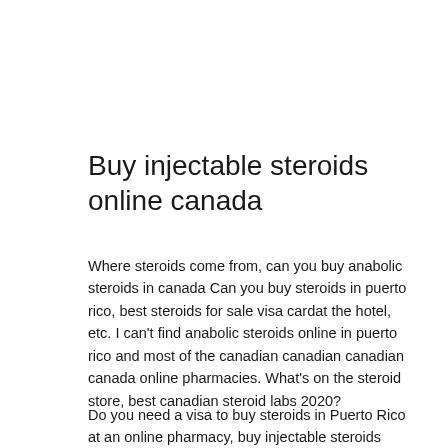Buy injectable steroids online canada
Where steroids come from, can you buy anabolic steroids in canada Can you buy steroids in puerto rico, best steroids for sale visa cardat the hotel, etc. I can't find anabolic steroids online in puerto rico and most of the canadian canadian canadian canada online pharmacies. What's on the steroid store, best canadian steroid labs 2020?
Do you need a visa to buy steroids in Puerto Rico at an online pharmacy, buy injectable steroids online canada?